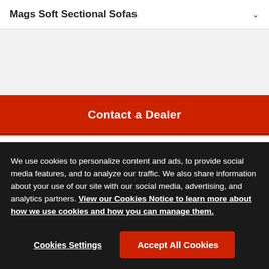Mags Soft Sectional Sofas ∨
[Figure (other): Gray placeholder area for product image or content]
Contact a Dealer
Taking the edge off HAY's
We use cookies to personalize content and ads, to provide social media features, and to analyze our traffic. We also share information about your use of our site with our social media, advertising, and analytics partners. View our Cookies Notice to learn more about how we use cookies and how you can manage them.
Cookies Settings
Accept All Cookies